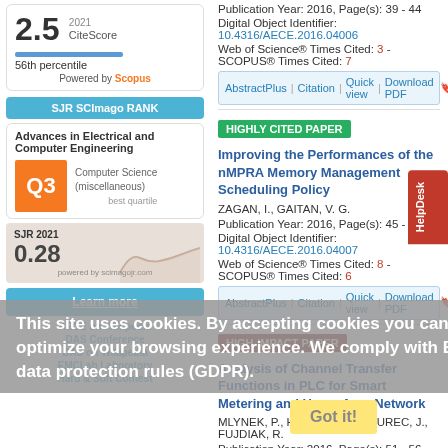2.5 CiteScore 2021
56th percentile
Powered by Scopus
SJR SCImago RANK
Advances in Electrical and Computer Engineering
Q3 Computer Science (miscellaneous) best quartile
SJR 2021 0.28
powered by scimagojr.com
Learn more
AECE on Wikipedia
DAS Conference
DAS on Wikipedia
EMCLab Laboratory
Hard & Soft Contest
Publication Year: 2016, Page(s): 39 - 44
Digital Object Identifier: 10.4316/AECE.2016.04006
Web of Science® Times Cited: 3 - SCOPUS® Times Cited: 7
AbstractPlus | Citation | Quick view | Download PDF
HIGHLY CITED PAPER
Improving the Performances of the nMPRA Memory Management Scheduling Policy
ZAGAN, I., GAITAN, V. G.
Publication Year: 2016, Page(s): 45 - 50
Digital Object Identifier: 10.4316/AECE.2016.04007
Web of Science® Times Cited: 8 - SCOPUS® Times Cited: 6
AbstractPlus | Citation | Quick view | Download PDF
HIGH-IMPACT PAPER
Analysis of Channel Transfer Functions in PLC for Smart Metering and Home Area Network
MLYNEK, P., HASIRCI, Z., MISUREC, J., FUJDIAK, R.
Publication Year: 2016, Page(s): 51 - 56
This site uses cookies. By accepting cookies you can optimize your browsing experience. We comply with EU data protection rules (GDPR).
Got it!
HelpDesk